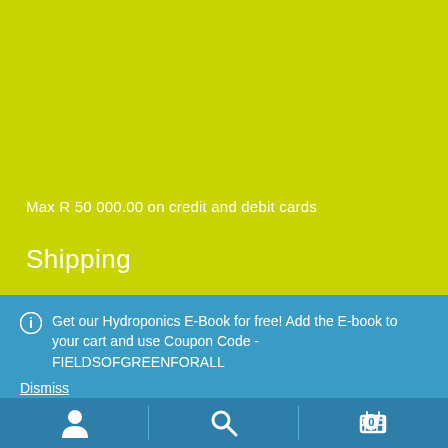Max R 50 000.00 on credit and debit cards
Shipping
Get our Hydroponics E-Book for free! Add the E-book to your cart and use Coupon Code - FIELDSOFGREENFORALL
Dismiss